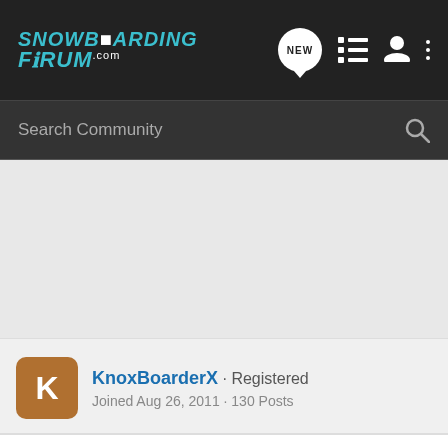SnowboardingForum.com
Search Community
[Figure (screenshot): Ad area / empty space]
KnoxBoarderX · Registered
Joined Aug 26, 2011 · 130 Posts
#13 · Nov 1, 2012